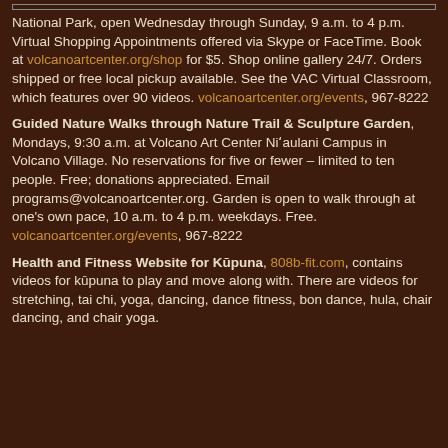National Park, open Wednesday through Sunday, 9 a.m. to 4 p.m. Virtual Shopping Appointments offered via Skype or FaceTime. Book at volcanoartcenter.org/shop for $5. Shop online gallery 24/7. Orders shipped or free local pickup available. See the VAC Virtual Classroom, which features over 90 videos. volcanoartcenter.org/events, 967-8222
Guided Nature Walks through Nature Trail & Sculpture Garden, Mondays, 9:30 a.m. at Volcano Art Center Ni'aulani Campus in Volcano Village. No reservations for five or fewer – limited to ten people. Free; donations appreciated. Email programs@volcanoartcenter.org. Garden is open to walk through at one's own pace, 10 a.m. to 4 p.m. weekdays. Free. volcanoartcenter.org/events, 967-8222
Health and Fitness Website for Kūpuna, 808b-fit.com, contains videos for kūpuna to play and move along with. There are videos for stretching, tai chi, yoga, dancing, dance fitness, bon dance, hula, chair dancing, and chair yoga.